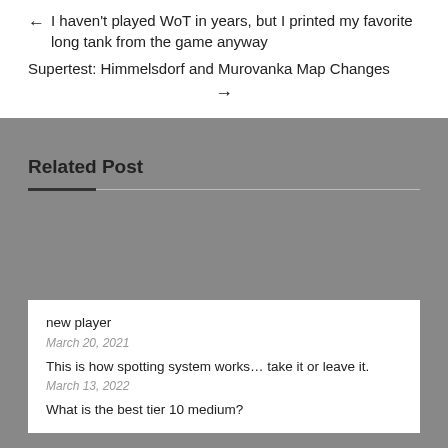← I haven't played WoT in years, but I printed my favorite long tank from the game anyway
Supertest: Himmelsdorf and Murovanka Map Changes →
Related Post
new player
March 20, 2021
This is how spotting system works… take it or leave it.
March 13, 2022
What is the best tier 10 medium?